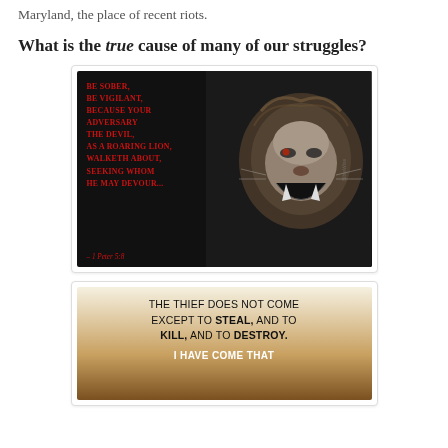Maryland, the place of recent riots.
What is the true cause of many of our struggles?
[Figure (illustration): Black background image of a roaring lion in black and white on the right half, with red bold scripture text on the left: 'Be sober, be vigilant, because your adversary the devil, as a roaring lion, walketh about, seeking whom he may devour... - 1 Peter 5:8']
[Figure (illustration): Image with warm golden/brown gradient background containing text: 'THE THIEF DOES NOT COME EXCEPT TO STEAL, AND TO KILL, AND TO DESTROY.' and partially visible 'I HAVE COME THAT' at the bottom in white.]